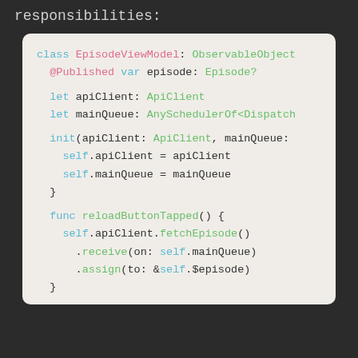responsibilities:
[Figure (screenshot): Swift code snippet showing EpisodeViewModel class with @Published var episode, apiClient and mainQueue properties, init method, and reloadButtonTapped function using Combine chaining.]